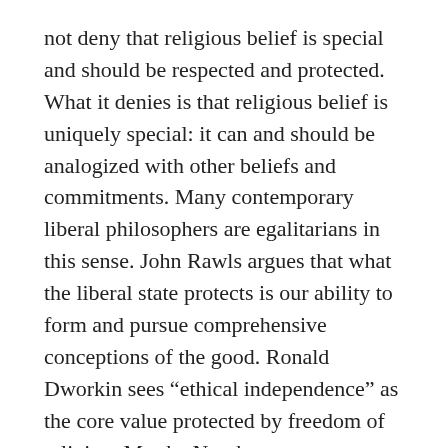not deny that religious belief is special and should be respected and protected. What it denies is that religious belief is uniquely special: it can and should be analogized with other beliefs and commitments. Many contemporary liberal philosophers are egalitarians in this sense. John Rawls argues that what the liberal state protects is our ability to form and pursue comprehensive conceptions of the good. Ronald Dworkin sees “ethical independence” as the core value protected by freedom of religion. Martha Nussbaum connects freedom of religion to a conscientious search for “ultimate meaning.”
It is in this context that Charles Taylor and Jocelyn MacLure’s little book Secularism and Freedom of Conscience is of considerable interest. In it, Taylor and MacLure put forward their own egalitarian theory of